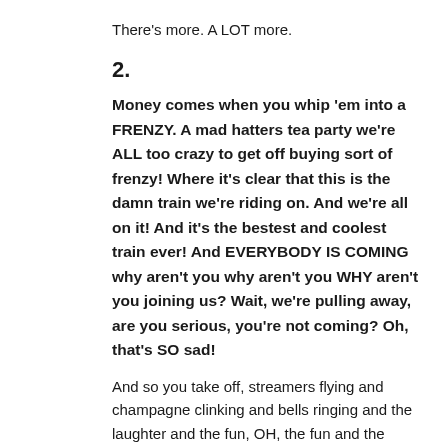There's more. A LOT more.
2.
Money comes when you whip 'em into a FRENZY. A mad hatters tea party we're ALL too crazy to get off buying sort of frenzy! Where it's clear that this is the damn train we're riding on. And we're all on it! And it's the bestest and coolest train ever! And EVERYBODY IS COMING why aren't you why aren't you WHY aren't you joining us? Wait, we're pulling away, are you serious, you're not coming? Oh, that's SO sad!
And so you take off, streamers flying and champagne clinking and bells ringing and the laughter and the fun, OH, the fun and the